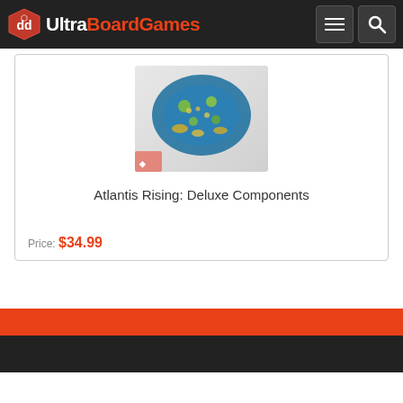UltraBoardGames
[Figure (screenshot): Product card showing Atlantis Rising: Deluxe Components board game components image with colorful game pieces]
Atlantis Rising: Deluxe Components
Price: $34.99